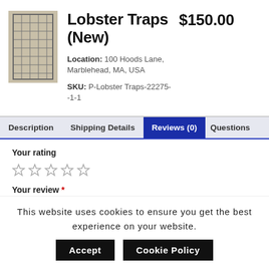[Figure (photo): Product photo of lobster traps (wire/metal cage structure)]
Lobster Traps (New)   $150.00
Location: 100 Hoods Lane, Marblehead, MA, USA
SKU: P-Lobster Traps-22275--1-1
Description   Shipping Details   Reviews (0)   Questions
Your rating
☆ ☆ ☆ ☆ ☆
Your review *
This website uses cookies to ensure you get the best experience on your website.
Accept   Cookie Policy